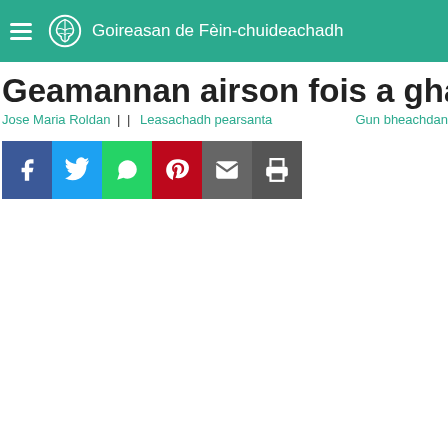Goireasan de Fèin-chuideachadh
Geamannan airson fois a ghabhail
Jose Maria Roldan || Leasachadh pearsanta   Gun bheachdan
[Figure (infographic): Social sharing buttons: Facebook, Twitter, WhatsApp, Pinterest, Email, Print]